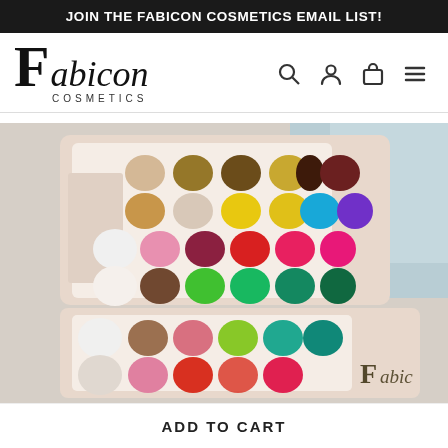JOIN THE FABICON COSMETICS EMAIL LIST!
[Figure (logo): Fabicon Cosmetics logo with large serif F and the word 'fabicon' in italic serif font, with 'COSMETICS' below in sans-serif tracking. Navigation icons: search, account, cart, hamburger menu.]
[Figure (photo): An open eyeshadow palette with multiple rows of colorful circular pans in various colors including neutrals, browns, yellows, blues, purples, reds, greens, and pinks arranged in a light pink/beige case. Another section of the palette is visible below showing similar colors.]
ADD TO CART